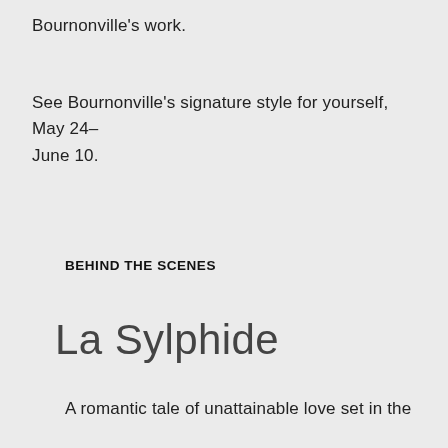Bournonville's work.
See Bournonville's signature style for yourself, May 24–June 10.
BEHIND THE SCENES
La Sylphide
A romantic tale of unattainable love set in the Scottish Highlands...